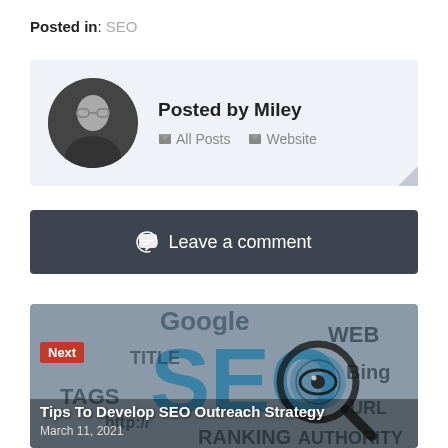Posted in: SEO
Posted by Miley
All Posts  Website
Leave a comment
[Figure (screenshot): Next post card showing SEO-themed background image with words like Google, WEB, SEO, Bing, TAGS, RANKING, AUTHORITY, URL, http://, TITLE; with a magnifying glass icon over SEO text. Overlay shows red 'Next' label, title 'Tips To Develop SEO Outreach Strategy', and date 'March 11, 2021']